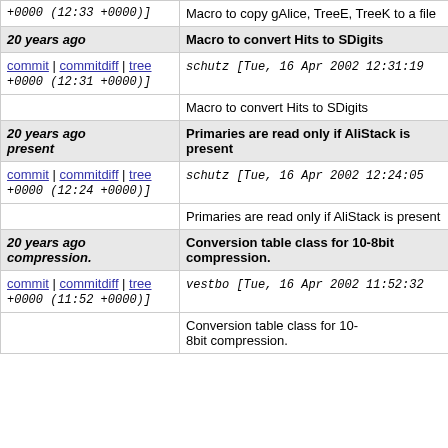| [partial top row left] | Macro to copy gAlice, TreeE, TreeK to a file |
| 20 years ago | Macro to convert Hits to SDigits |
| commit | commitdiff | tree
schutz [Tue, 16 Apr 2002 12:31:19 +0000 (12:31 +0000)] |  |
|  | Macro to convert Hits to SDigits |
| 20 years ago
present | Primaries are read only if AliStack is present |
| commit | commitdiff | tree
schutz [Tue, 16 Apr 2002 12:24:05 +0000 (12:24 +0000)] |  |
|  | Primaries are read only if AliStack is present |
| 20 years ago
compression. | Conversion table class for 10-8bit compression. |
| commit | commitdiff | tree
vestbo [Tue, 16 Apr 2002 11:52:32 +0000 (11:52 +0000)] |  |
|  | Conversion table class for 10-8bit compression. |